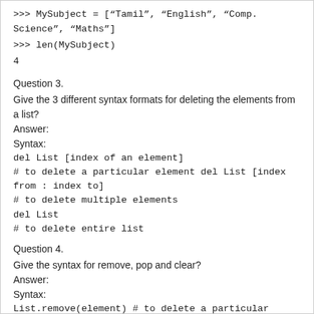>>> MySubject = ["Tamil", "English", "Comp. Science", "Maths"]
>>> len(MySubject)
4
Question 3.
Give the 3 different syntax formats for deleting the elements from a list?
Answer:
Syntax:
del List [index of an element]
# to delete a particular element del List [index from : index to]
# to delete multiple elements
del List
# to delete entire list
Question 4.
Give the syntax for remove, pop and clear?
Answer:
Syntax:
List.remove(element) # to delete a particular element
List.pop(index of an element)